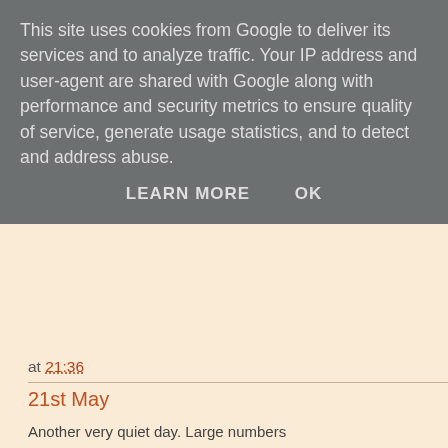This site uses cookies from Google to deliver its services and to analyze traffic. Your IP address and user-agent are shared with Google along with performance and security metrics to ensure quality of service, generate usage statistics, and to detect and address abuse.
LEARN MORE   OK
at 21:36
21st May
Another very quiet day. Large numbers... included a second-summer Yellow-leg
Three Brown Hares were seen near th
Only two Grizzled Skippers could be f them.
at 00:24
20th May